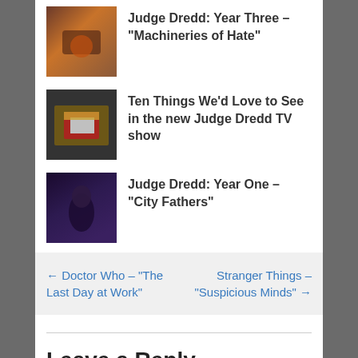Judge Dredd: Year Three – “Machineries of Hate”
Ten Things We’d Love to See in the new Judge Dredd TV show
Judge Dredd: Year One – “City Fathers”
← Doctor Who – “The Last Day at Work”
Stranger Things – “Suspicious Minds” →
Leave a Reply
Your email address will not be published. Required fields are marked *